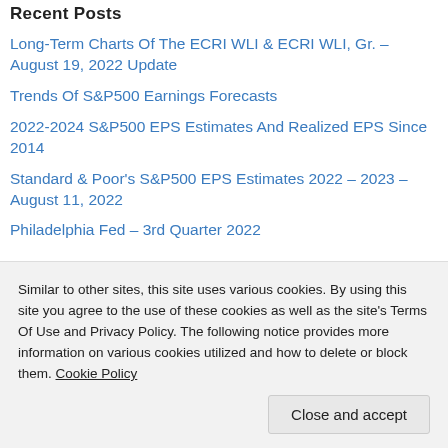Recent Posts
Long-Term Charts Of The ECRI WLI & ECRI WLI, Gr. – August 19, 2022 Update
Trends Of S&P500 Earnings Forecasts
2022-2024 S&P500 EPS Estimates And Realized EPS Since 2014
Standard & Poor's S&P500 EPS Estimates 2022 – 2023 – August 11, 2022
Philadelphia Fed – 3rd Quarter 2022
Charts Indicating Economic Weakness – August 2022
Similar to other sites, this site uses various cookies. By using this site you agree to the use of these cookies as well as the site's Terms Of Use and Privacy Policy. The following notice provides more information on various cookies utilized and how to delete or block them. Cookie Policy